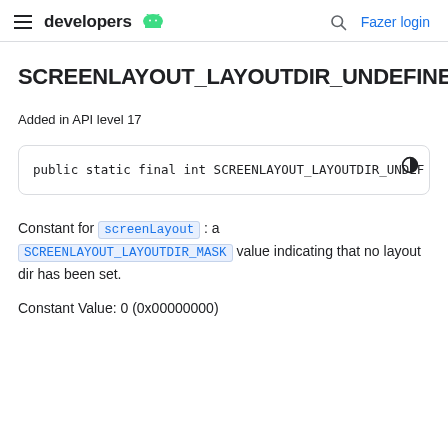developers | Fazer login
SCREENLAYOUT_LAYOUTDIR_UNDEFINED
Added in API level 17
public static final int SCREENLAYOUT_LAYOUTDIR_UNDEF
Constant for screenLayout : a SCREENLAYOUT_LAYOUTDIR_MASK value indicating that no layout dir has been set.
Constant Value: 0 (0x00000000)